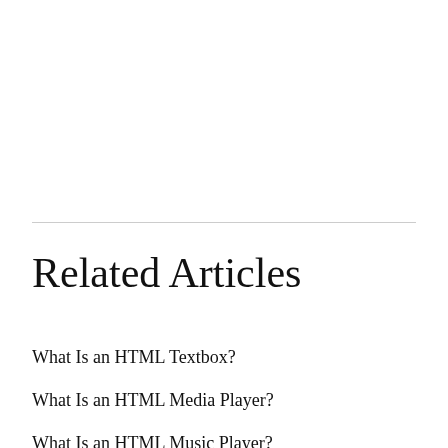Related Articles
What Is an HTML Textbox?
What Is an HTML Media Player?
What Is an HTML Music Player?